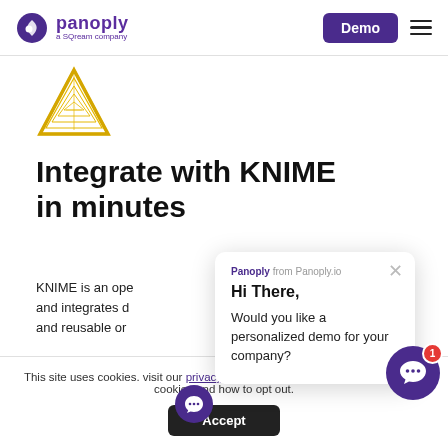panoply a SQream company | Demo
[Figure (logo): KNIME yellow triangle logo]
Integrate with KNIME in minutes
KNIME is an open source… and integrates d… and reusable or…
[Figure (screenshot): Panoply chat popup: 'Hi There, Would you like a personalized demo for your company?']
This site uses cookies. visit our privacy policy to find out more about our use of cookies and how to opt out.
Accept